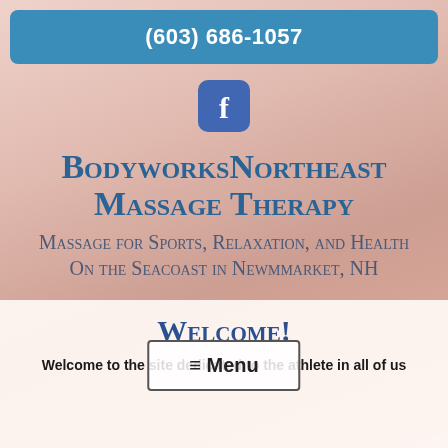(603) 686-1057
[Figure (logo): Facebook icon - circular blue icon with white letter f]
BodyworksNortheast Massage Therapy
Massage for Sports, Relaxation, and Health On the Seacoast in Newmmarket, NH
≡ Menu
Welcome!
Welcome to the site dedicated to the athlete in all of us